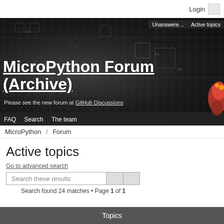Login
[Figure (screenshot): MicroPython Forum banner with circuit board background. Navigation links: Unanswere... and Active topics. Title: MicroPython Forum (Archive). Subtitle: Please see the new forum at GitHub Discussions. Menu: FAQ Search The team. Snake logo bottom right.]
MicroPython / Forum
Active topics
Go to advanced search
Search these results
Search found 24 matches • Page 1 of 1
Topics